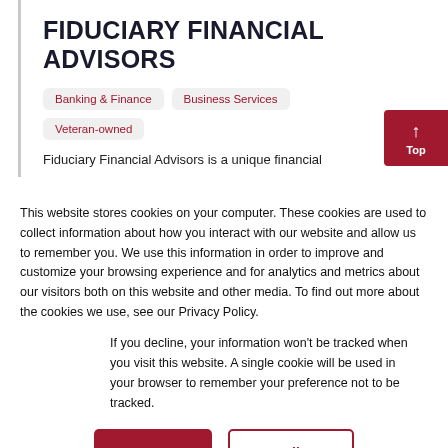FIDUCIARY FINANCIAL ADVISORS
Banking & Finance
Business Services
Veteran-owned
Fiduciary Financial Advisors is a unique financial
This website stores cookies on your computer. These cookies are used to collect information about how you interact with our website and allow us to remember you. We use this information in order to improve and customize your browsing experience and for analytics and metrics about our visitors both on this website and other media. To find out more about the cookies we use, see our Privacy Policy.
If you decline, your information won't be tracked when you visit this website. A single cookie will be used in your browser to remember your preference not to be tracked.